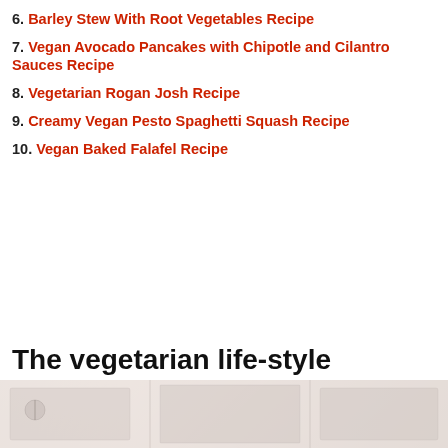6. Barley Stew With Root Vegetables Recipe
7. Vegan Avocado Pancakes with Chipotle and Cilantro Sauces Recipe
8. Vegetarian Rogan Josh Recipe
9. Creamy Vegan Pesto Spaghetti Squash Recipe
10. Vegan Baked Falafel Recipe
The vegetarian life-style
[Figure (photo): Partially visible interior/kitchen scene with muted warm tones at the bottom of the page]